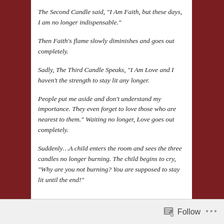The Second Candle said, “I Am Faith, but these days, I am no longer indispensable.”
Then Faith’s flame slowly diminishes and goes out completely.
Sadly, The Third Candle Speaks, “I Am Love and I haven’t the strength to stay lit any longer.
People put me aside and don’t understand my importance. They even forget to love those who are nearest to them.” Waiting no longer, Love goes out completely.
Suddenly…A child enters the room and sees the three candles no longer burning. The child begins to cry, “Why are you not burning? You are supposed to stay lit until the end!”
Follow •••